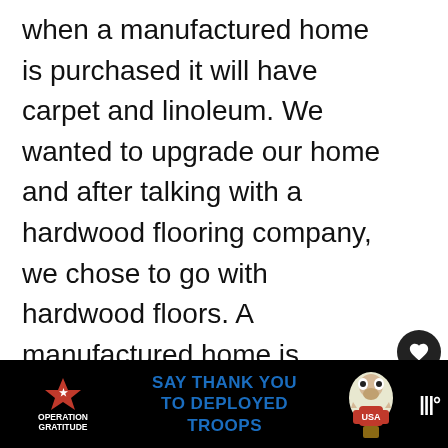when a manufactured home is purchased it will have carpet and linoleum. We wanted to upgrade our home and after talking with a hardwood flooring company, we chose to go with hardwood floors. A manufactured home is assembled and brought out to a location in two separate pieces. It is then put together on site and they are also known as a double-wide or modular home.
[Figure (screenshot): UI buttons: heart/like button (dark circle with heart icon), count '1', and share button (circle with share icon)]
[Figure (infographic): Advertisement banner for Operation Gratitude: black background, star graphic, logo text 'OPERATION GRATITUDE', blue text 'SAY THANK YOU TO DEPLOYED TROOPS', illustrated owl mascot, close X button, music streaming icon]